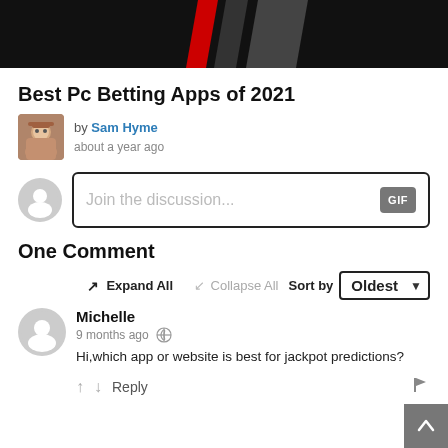[Figure (illustration): Dark banner header with red and dark diagonal stripes on black background]
Best Pc Betting Apps of 2021
by Sam Hyme about a year ago
Join the discussion... GIF
One Comment
Expand All  Collapse All  Sort by Oldest
Michelle
9 months ago
Hi,which app or website is best for jackpot predictions?
↑ ↓ Reply